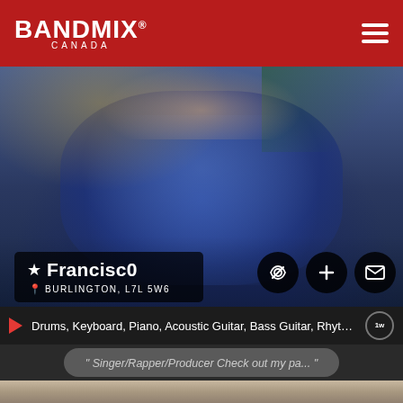BANDMIX® CANADA
[Figure (photo): Close-up photo of a person wearing a dark vest over a blue patterned/ornate shirt, with a colorful background]
★ Francisc0
📍 BURLINGTON, L7L 5W6
Drums, Keyboard, Piano, Acoustic Guitar, Bass Guitar, Rhythm Gui…
" Singer/Rapper/Producer Check out my pa... "
[Figure (photo): Silhouette photo of a person wearing a hoodie and vest standing outdoors with a cityscape in the background, muted/sepia tones]